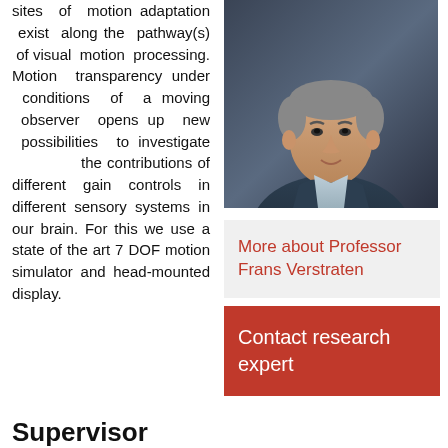sites of motion adaptation exist along the pathway(s) of visual motion processing. Motion transparency under conditions of a moving observer opens up new possibilities to investigate the contributions of different gain controls in different sensory systems in our brain. For this we use a state of the art 7 DOF motion simulator and head-mounted display.
Supervisor
[Figure (photo): Portrait photo of Professor Frans Verstraten, a middle-aged man in a dark blazer and light blue shirt, against a dark background]
More about Professor Frans Verstraten
Contact research expert